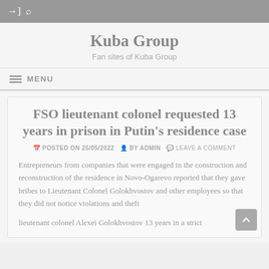Kuba Group — Fan sites of Kuba Group
FSO lieutenant colonel requested 13 years in prison in Putin's residence case
POSTED ON 25/05/2022  BY ADMIN  LEAVE A COMMENT
Entrepreneurs from companies that were engaged in the construction and reconstruction of the residence in Novo-Ogarevo reported that they gave bribes to Lieutenant Colonel Golokhvostov and other employees so that they did not notice violations and theft
lieutenant colonel Alexei Golokhvostov 13 years in a strict